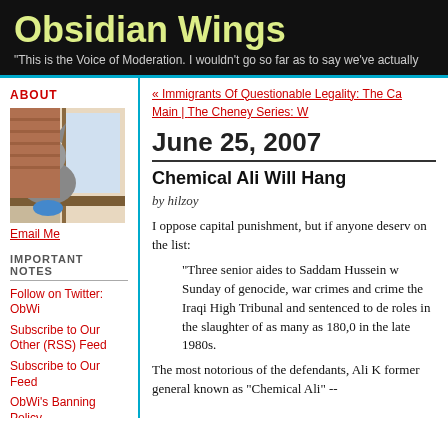Obsidian Wings
"This is the Voice of Moderation. I wouldn't go so far as to say we've actually
ABOUT
[Figure (photo): A cat sitting by a window with a blue toy]
Email Me
IMPORTANT NOTES
Follow on Twitter: ObWi
Subscribe to Our Other (RSS) Feed
Subscribe to Our Feed
ObWi's Banning Policy
About our Mascot
Posting Rules
« Immigrants Of Questionable Legality: The Ca
Main | The Cheney Series: W
June 25, 2007
Chemical Ali Will Hang
by hilzoy
I oppose capital punishment, but if anyone deserv on the list:
"Three senior aides to Saddam Hussein w Sunday of genocide, war crimes and crime the Iraqi High Tribunal and sentenced to de roles in the slaughter of as many as 180,0 in the late 1980s.
The most notorious of the defendants, Ali K former general known as "Chemical Ali" --